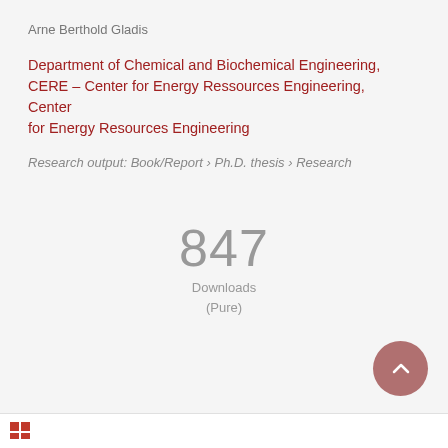Arne Berthold Gladis
Department of Chemical and Biochemical Engineering, CERE – Center for Energy Ressources Engineering, Center for Energy Resources Engineering
Research output: Book/Report › Ph.D. thesis › Research
847
Downloads
(Pure)